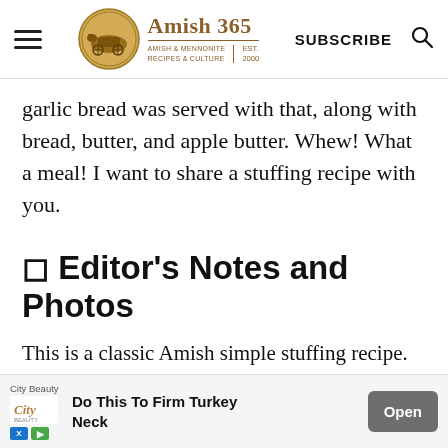Amish 365 — AMISH & MENNONITE RECIPES & CULTURE | EST. 2000 | SUBSCRIBE
garlic bread was served with that, along with bread, butter, and apple butter. Whew! What a meal! I want to share a stuffing recipe with you.
🍽 Editor's Notes and Photos
This is a classic Amish simple stuffing recipe. The ingredients are so easy to asse… of